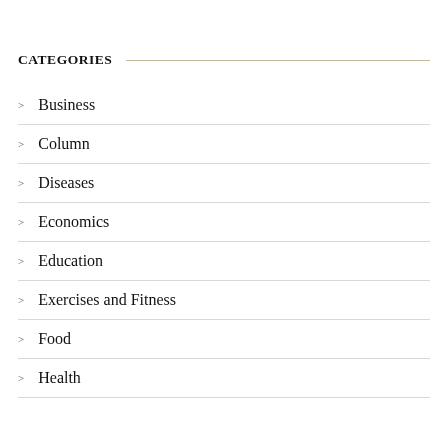CATEGORIES
Business
Column
Diseases
Economics
Education
Exercises and Fitness
Food
Health